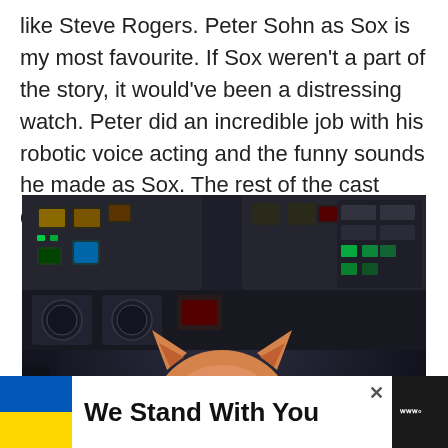like Steve Rogers. Peter Sohn as Sox is my most favourite. If Sox weren't a part of the story, it would've been a distressing watch. Peter did an incredible job with his robotic voice acting and the funny sounds he made as Sox. The rest of the cast does their job well.
[Figure (photo): Animated robot cat character Sox from Lightyear, shown in a spacecraft cockpit with glowing control panels and buttons in dark environment.]
We Stand With You